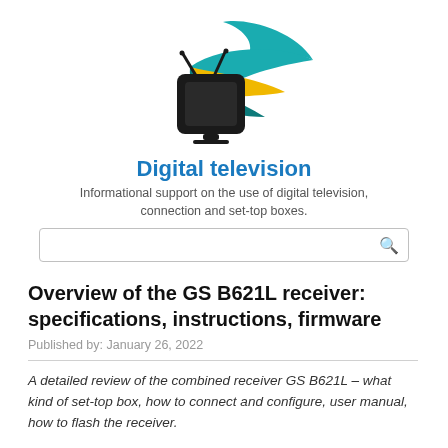[Figure (logo): Digital television logo: stylized black TV set with teal and yellow swoosh/wing shapes behind it]
Digital television
Informational support on the use of digital television, connection and set-top boxes.
[Figure (other): Search input box with magnifying glass icon]
Overview of the GS B621L receiver: specifications, instructions, firmware
Published by: January 26, 2022
A detailed review of the combined receiver GS B621L – what kind of set-top box, how to connect and configure, user manual, how to flash the receiver.